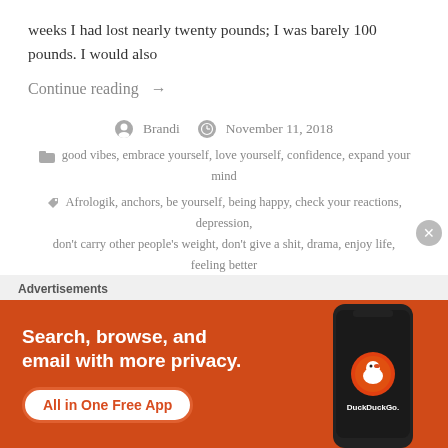weeks I had lost nearly twenty pounds; I was barely 100 pounds. I would also
Continue reading →
Brandi   November 11, 2018
good vibes, embrace yourself, love yourself, confidence, expand your mind
Afrologik, anchors, be yourself, being happy, check your reactions, depression, don't carry other people's weight, don't give a shit, drama, enjoy life, feeling better, free yourself, friends, good relationships, good vibes zone, good vibes, embrace yourself, love yourself, confidence, expand your mind, happiness, happy life, how to smile, Laughing, love yourself, manifest, mental health, people, people are anchors, relationships, self help, slow down,
Advertisements
[Figure (illustration): DuckDuckGo advertisement banner with orange background, white text reading 'Search, browse, and email with more privacy. All in One Free App', and a phone image showing the DuckDuckGo app.]